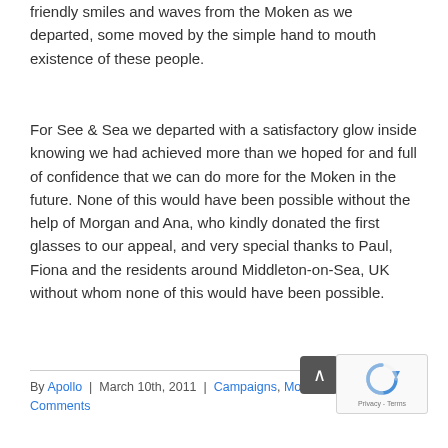friendly smiles and waves from the Moken as we departed, some moved by the simple hand to mouth existence of these people.
For See & Sea we departed with a satisfactory glow inside knowing we had achieved more than we hoped for and full of confidence that we can do more for the Moken in the future. None of this would have been possible without the help of Morgan and Ana, who kindly donated the first glasses to our appeal, and very special thanks to Paul, Fiona and the residents around Middleton-on-Sea, UK without whom none of this would have been possible.
By Apollo | March 10th, 2011 | Campaigns, Moken 2011 | 0 Comments